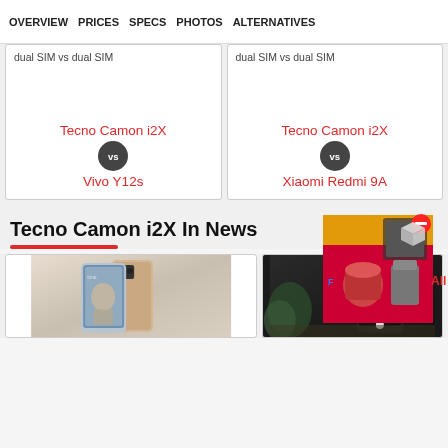OVERVIEW  PRICES  SPECS  PHOTOS  ALTERNATIVES
dual SIM vs dual SIM
dual SIM vs dual SIM
Tecno Camon i2X vs Vivo Y12s
Tecno Camon i2X vs Xiaomi Redmi 9A
Tecno Camon i2X In News
[Figure (photo): Advertisement box with red background showing kitchen appliances]
[Figure (photo): Tecno Camon i2X phone image with person]
[Figure (photo): Dark smartphone photo]